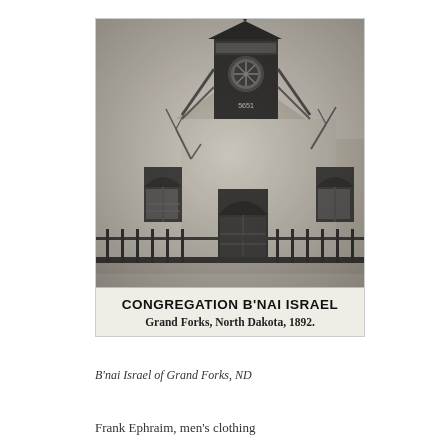[Figure (photo): Black and white historic photograph of Congregation B'nai Israel synagogue building in Grand Forks, North Dakota, 1892. The building features arched windows, a prominent tower/belfry with decorative elements, and a circular window. Text overlay within the photo reads 'CONGREGATION B'NAI ISRAEL' in bold and 'Grand Forks, North Dakota, 1892.' below it.]
B'nai Israel of Grand Forks, ND
Frank Ephraim, men's clothing